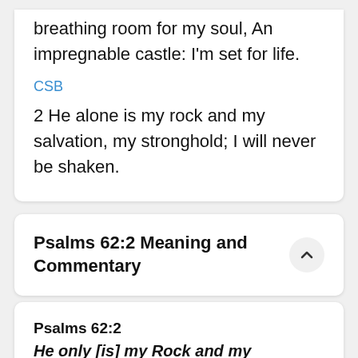breathing room for my soul, An impregnable castle: I'm set for life.
CSB
2 He alone is my rock and my salvation, my stronghold; I will never be shaken.
Psalms 62:2 Meaning and Commentary
Psalms 62:2
He only [is] my Rock and my salvation